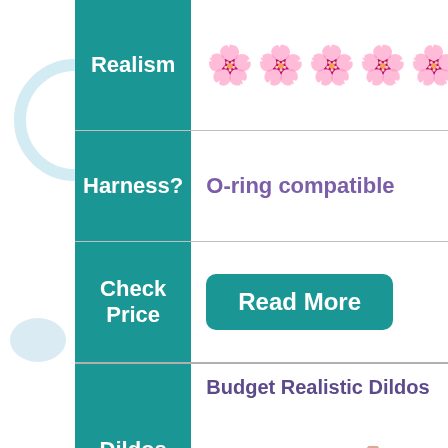| Category | Content |
| --- | --- |
| Realism | 🌸🌸🌸🌸🌸 (5 flowers) |
| Harness? | O-ring compatible |
| Check Price | Read More |
| Dildos | Budget Realistic Dildos |